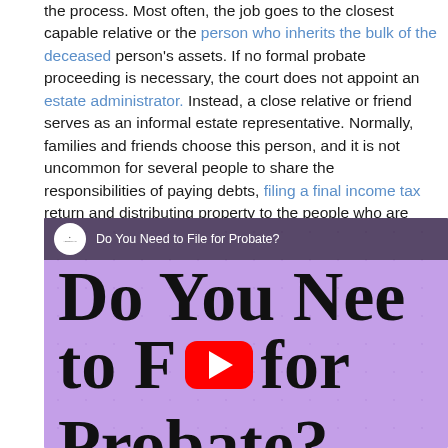the process. Most often, the job goes to the closest capable relative or the person who inherits the bulk of the deceased person's assets. If no formal probate proceeding is necessary, the court does not appoint an estate administrator. Instead, a close relative or friend serves as an informal estate representative. Normally, families and friends choose this person, and it is not uncommon for several people to share the responsibilities of paying debts, filing a final income tax return and distributing property to the people who are supposed to get it.
[Figure (screenshot): YouTube video thumbnail for 'Do You Need to File for Probate?' by Ascent Law. Purple background with decorative pattern, large bold text reading 'Do You Need to File for Probate?' partially visible, YouTube play button in center.]